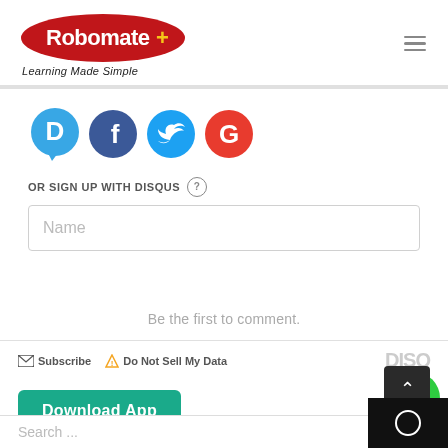[Figure (logo): Robomate+ logo: red oval with white text 'Robomate' and yellow '+', tagline 'Learning Made Simple' below]
[Figure (infographic): Four social login icons in circles: Disqus (blue, D), Facebook (dark blue, f), Twitter (blue, bird), Google (red, G)]
OR SIGN UP WITH DISQUS ?
Name
Be the first to comment.
Subscribe   Do Not Sell My Data   DISQUS
Download App
Search ...